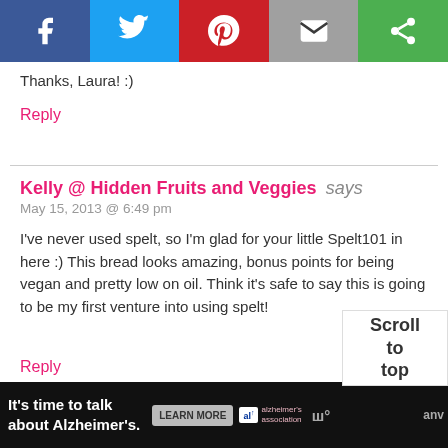[Figure (other): Social media share bar with Facebook (blue), Twitter (light blue), Pinterest (red), Email (gray), and another share (green) buttons]
Thanks, Laura! :)
Reply
Kelly @ Hidden Fruits and Veggies says
May 15, 2013 @ 6:49 pm
I've never used spelt, so I'm glad for your little Spelt101 in here :) This bread looks amazing, bonus points for being vegan and pretty low on oil. Think it's safe to say this is going to be my first venture into using spelt!
Reply
[Figure (other): Scroll to top widget overlay]
[Figure (other): Advertisement bar: It's time to talk about Alzheimer's. LEARN MORE. Alzheimer's Association logo.]